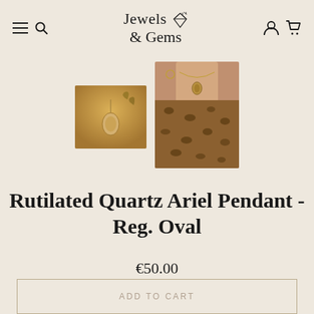Jewels & Gems
[Figure (photo): Two product photos: small thumbnail of rutilated quartz pendant on a warm golden background, and a larger photo of a woman wearing the pendant necklace with a leopard print top.]
Rutilated Quartz Ariel Pendant - Reg. Oval
€50.00
ADD TO CART